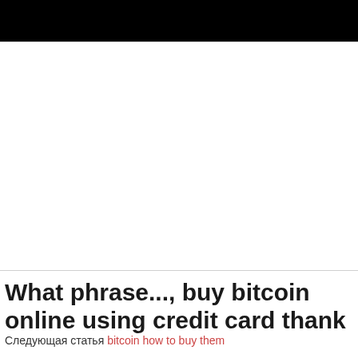[Figure (other): Black header bar at top of page]
What phrase..., buy bitcoin online using credit card thank
Следующая статья bitcoin how to buy them